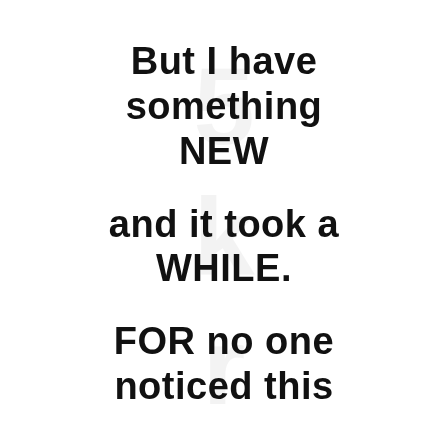But I have something NEW and it took a WHILE. FOR no one noticed this